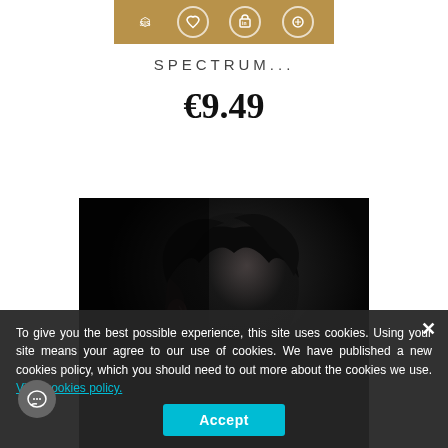[Figure (other): Gold/tan banner strip with social media icons (partially visible): share icon, heart/like icon, LinkedIn icon, and a circular icon]
SPECTRUM...
€9.49
[Figure (photo): Dark moody portrait photo of a person's silhouette/profile, mostly in shadow with dark hair, against a very dark background]
To give you the best possible experience, this site uses cookies. Using your site means your agree to our use of cookies. We have published a new cookies policy, which you should need to out more about the cookies we use. View cookies policy.
Accept